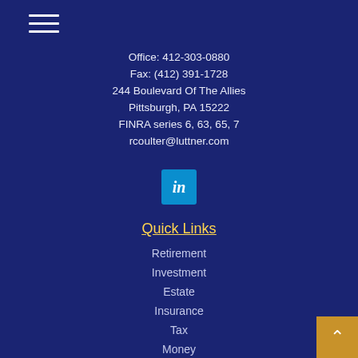[Figure (other): Hamburger menu icon with three horizontal white lines]
Office: 412-303-0880
Fax: (412) 391-1728
244 Boulevard Of The Allies
Pittsburgh, PA 15222
FINRA series 6, 63, 65, 7
rcoulter@luttner.com
[Figure (logo): LinkedIn icon — teal square with white 'in' text]
Quick Links
Retirement
Investment
Estate
Insurance
Tax
Money
Lifestyle
All Articles
All Videos